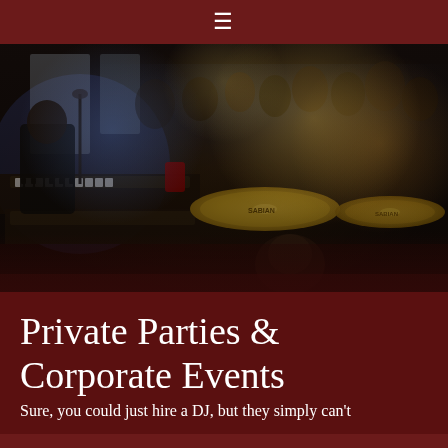≡
[Figure (photo): Band performing live at a crowded indoor event venue. A drummer is visible in the foreground with gold cymbals (Sabian brand). A keyboard player wearing a black shirt is seen on the left. Many guests/attendees are visible standing in the background. The venue appears to be a bar or restaurant with windows and colorful lighting.]
Private Parties & Corporate Events
Sure, you could just hire a DJ, but they simply can't compete with our group to like a good old fashioned...